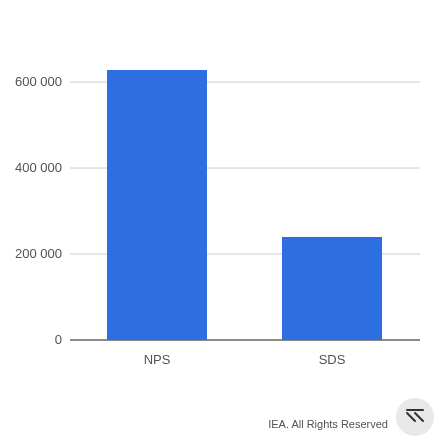[Figure (bar-chart): ]
IEA. All Rights Reserved